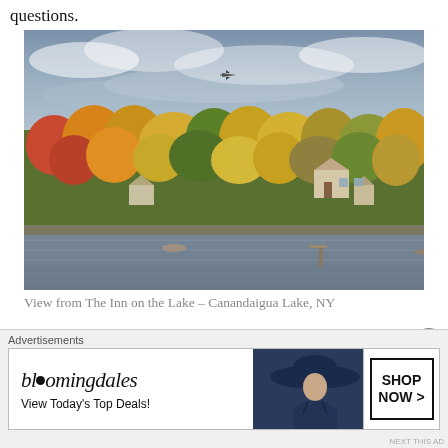questions.
[Figure (photo): Autumn lakeside scene with colorful fall foliage trees reflected near a lake, houses visible among the trees, small aircraft flying in a cloudy sky above. View from The Inn on the Lake, Canandaigua Lake, NY.]
View from The Inn on the Lake – Canandaigua Lake, NY
Like most of us, I strive to feed my family a well-balanced...
[Figure (other): Bloomingdale's advertisement banner: 'View Today's Top Deals!' with a woman in a large blue hat and a SHOP NOW > button]